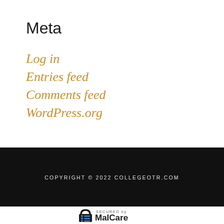Meta
Log in
Entries feed
Comments feed
WordPress.org
COPYRIGHT © 2022 COLLEGEOTR.COM
[Figure (logo): Secured by MalCare logo with lock icon and blue dots]